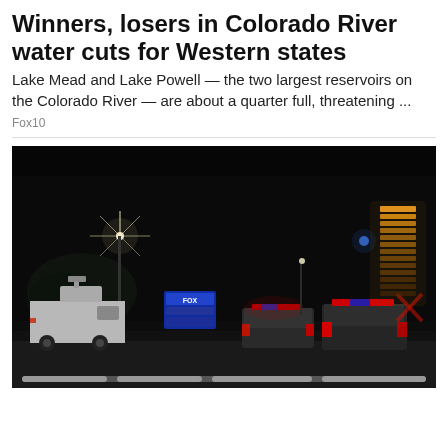Winners, losers in Colorado River water cuts for Western states
Lake Mead and Lake Powell — the two largest reservoirs on the Colorado River — are about a quarter full, threatening ...
Fox10
[Figure (photo): Night scene showing police vehicles with red and blue lights, a news van on the left, and an illuminated tower structure on the right, all on a dark roadway.]